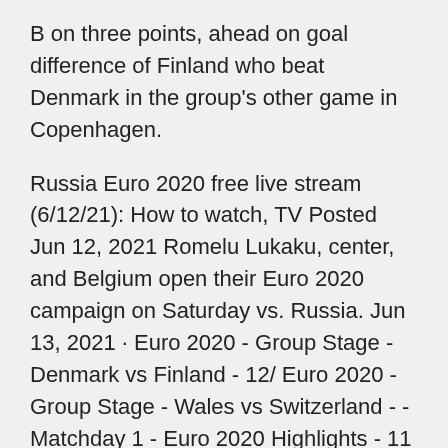B on three points, ahead on goal difference of Finland who beat Denmark in the group's other game in Copenhagen.
Russia Euro 2020 free live stream (6/12/21): How to watch, TV Posted Jun 12, 2021 Romelu Lukaku, center, and Belgium open their Euro 2020 campaign on Saturday vs. Russia. Jun 13, 2021 · Euro 2020 - Group Stage - Denmark vs Finland - 12/ Euro 2020 - Group Stage - Wales vs Switzerland - - Matchday 1 - Euro 2020 Highlights - 11 Jun 11, 2021 · Euro 2020 - Group Stage - Italy vs Turkey - 11/06/ International Friendly - Portugal vs Israel - 09/0 World Cup 2022 Qualifiers - Chile vs Bolivia - 08/ Jun 10, 2021 · Belgium kick off their Euro 2020 campaign with a tricky tie against Russia in Saint Petersburg on Saturday at 8pm (UK time). Roberto Martinez's men qualified for this